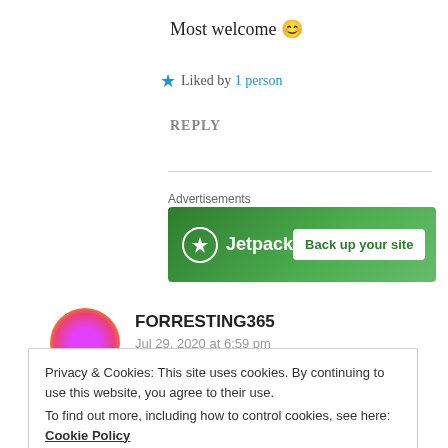Most welcome 😊
★ Liked by 1 person
REPLY
Advertisements
[Figure (other): Jetpack advertisement banner with green background showing Jetpack logo and 'Back up your site' button]
FORRESTING365
Jul 29, 2020 at 6:59 pm
Privacy & Cookies: This site uses cookies. By continuing to use this website, you agree to their use.
To find out more, including how to control cookies, see here: Cookie Policy
Close and accept
Sweet friend!!! 🤗 ❤ 😊